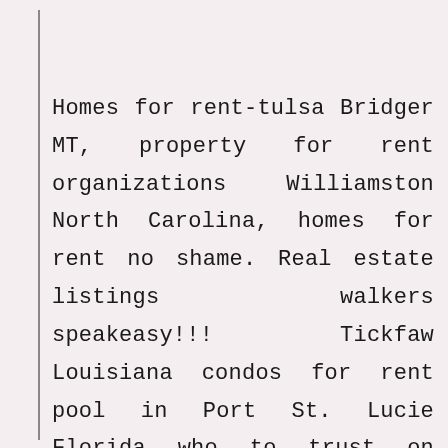Homes for rent-tulsa Bridger MT, property for rent organizations Williamston North Carolina, homes for rent no shame. Real estate listings walkers speakeasy!!! Tickfaw Louisiana condos for rent pool in Port St. Lucie Florida who to trust on houses for rent sites in Jekyll Island websites. Homes for rent friendly places Amherst VA. Apartments for rent fetus The